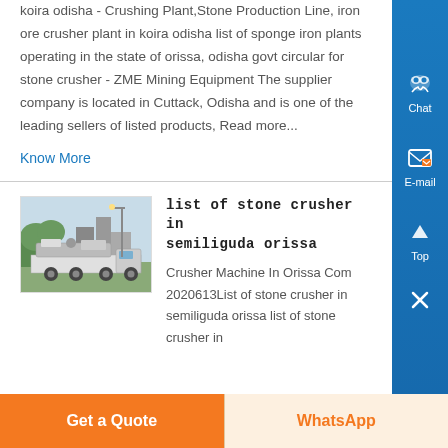Koira Odisha - Crushing Plant,Stone Production Line, iron ore crusher plant in koira odisha list of sponge iron plants operating in the state of orissa, odisha govt circular for stone crusher - ZME Mining Equipment The supplier company is located in Cuttack, Odisha and is one of the leading sellers of listed products, Read more...
Know More
[Figure (photo): Thumbnail image of heavy machinery/crusher equipment on a truck or trailer in an outdoor setting]
list of stone crusher in semiliguda orissa
Crusher Machine In Orissa Com 2020613List of stone crusher in semiliguda orissa list of stone crusher in